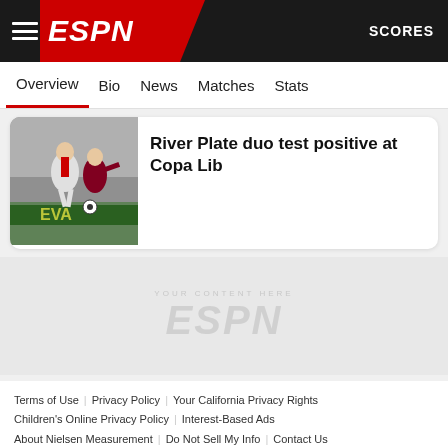ESPN — SCORES
Overview | Bio | News | Matches | Stats
[Figure (photo): Soccer players in action — River Plate match photo]
River Plate duo test positive at Copa Lib
[Figure (logo): ESPN watermark logo in light gray]
Terms of Use | Privacy Policy | Your California Privacy Rights | Children's Online Privacy Policy | Interest-Based Ads | About Nielsen Measurement | Do Not Sell My Info | Contact Us | Disney Ad Sales Site | Work for ESPN
Copyright: © ESPN Enterprises, Inc. All rights reserved.